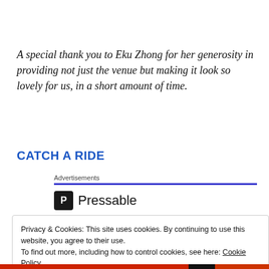A special thank you to Eku Zhong for her generosity in providing not just the venue but making it look so lovely for us, in a short amount of time.
CATCH A RIDE
[Figure (screenshot): Pressable advertisement with blue underline bar and Pressable logo]
Privacy & Cookies: This site uses cookies. By continuing to use this website, you agree to their use.
To find out more, including how to control cookies, see here: Cookie Policy
Close and accept